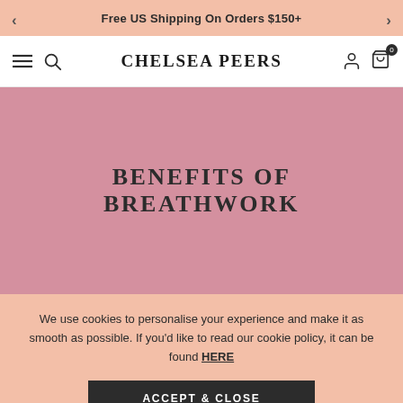Free US Shipping On Orders $150+
CHELSEA PEERS
BENEFITS OF BREATHWORK
We use cookies to personalise your experience and make it as smooth as possible. If you'd like to read our cookie policy, it can be found HERE
ACCEPT & CLOSE